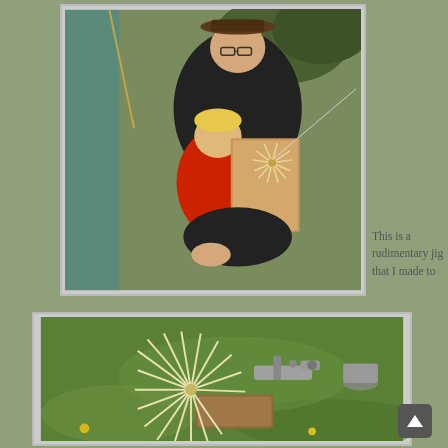[Figure (photo): An adult man wearing a hat and glasses sits with a young child in a red jacket. The child is holding or touching a wooden board with a starburst/radial craft piece on top. They appear to be outdoors near a tent or shelter with green trees in the background.]
This is a rudimentary jig that I made to
[Figure (photo): A close-up photo of a craft jig tool on green grass. The jig holds a starburst/radial weaving or craft piece made of light-colored material. Metal clamps and hardware are visible. Yellow flowers are visible in the background grass.]